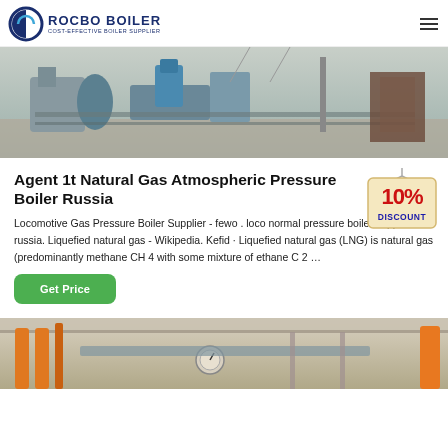ROCBO BOILER - COST-EFFECTIVE BOILER SUPPLIER
[Figure (photo): Industrial boiler equipment photograph showing machinery on a concrete floor with pipes and equipment]
Agent 1t Natural Gas Atmospheric Pressure Boiler Russia
[Figure (other): 10% DISCOUNT badge/sticker graphic]
Locomotive Gas Pressure Boiler Supplier - fewo . loco normal pressure boiler supplier in russia. Liquefied natural gas - Wikipedia. Kefid · Liquefied natural gas (LNG) is natural gas (predominantly methane CH 4 with some mixture of ethane C 2 …
Get Price
[Figure (photo): Industrial boiler room photograph showing orange pipes, gauges, and ceiling-mounted equipment]